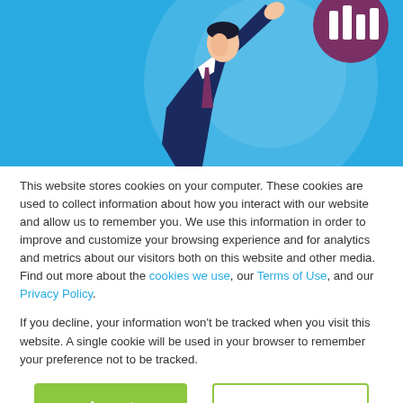[Figure (illustration): A blue background illustration showing a businessman in a dark suit reaching up toward a circular purple logo/ball with white bar chart stripes. A light circular spotlight shines behind him. The logo has horizontal white bars arranged in a bar-chart pattern.]
This website stores cookies on your computer. These cookies are used to collect information about how you interact with our website and allow us to remember you. We use this information in order to improve and customize your browsing experience and for analytics and metrics about our visitors both on this website and other media. Find out more about the cookies we use, our Terms of Use, and our Privacy Policy.
If you decline, your information won't be tracked when you visit this website. A single cookie will be used in your browser to remember your preference not to be tracked.